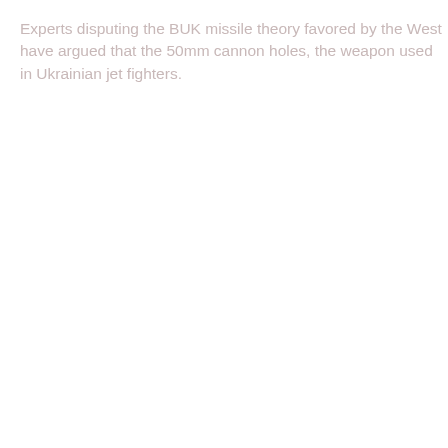Experts disputing the BUK missile theory favored by the West have argued that the 50mm cannon holes, the weapon used in Ukrainian jet fighters.